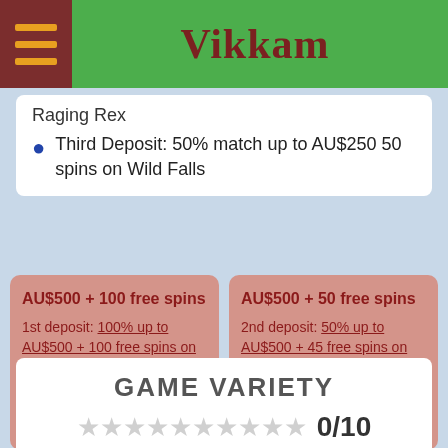Vikkam
Raging Rex
Third Deposit: 50% match up to AU$250 50 spins on Wild Falls
AU$500 + 100 free spins
1st deposit: 100% up to AU$500 + 100 free spins on Book of Dead
AU$500 + 50 free spins
2nd deposit: 50% up to AU$500 + 45 free spins on Raging Rex
GAME VARIETY
0/10
Game variety is a must at an online casino and Slotnite